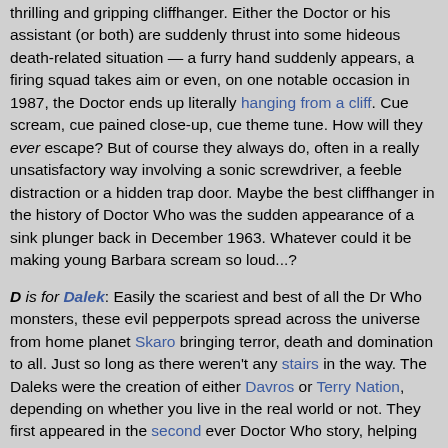thrilling and gripping cliffhanger. Either the Doctor or his assistant (or both) are suddenly thrust into some hideous death-related situation — a furry hand suddenly appears, a firing squad takes aim or even, on one notable occasion in 1987, the Doctor ends up literally hanging from a cliff. Cue scream, cue pained close-up, cue theme tune. How will they ever escape? But of course they always do, often in a really unsatisfactory way involving a sonic screwdriver, a feeble distraction or a hidden trap door. Maybe the best cliffhanger in the history of Doctor Who was the sudden appearance of a sink plunger back in December 1963. Whatever could it be making young Barbara scream so loud...?
D is for Dalek: Easily the scariest and best of all the Dr Who monsters, these evil pepperpots spread across the universe from home planet Skaro bringing terror, death and domination to all. Just so long as there weren't any stairs in the way. The Daleks were the creation of either Davros or Terry Nation, depending on whether you live in the real world or not. They first appeared in the second ever Doctor Who story, helping the fledgling series to make a big impact on the teatime audience, and they've never gone away since. First-class monsters, only finally licked when the Royal Mail stuck them on some commemorative stamps a few years ago.
E is for Earth: There are millions of planets in the Universe, and yet the Doctor seems to spend most of his time on just one. He's been on hand to repel countless alien invasions, numerous human...